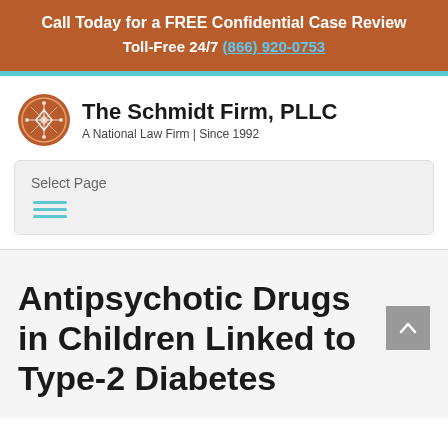Call Today for a FREE Confidential Case Review
Toll-Free 24/7 (866) 920-0753
[Figure (logo): The Schmidt Firm, PLLC logo — circular brown icon with ornamental cross pattern, next to firm name and tagline 'A National Law Firm | Since 1992']
Select Page
Antipsychotic Drugs in Children Linked to Type-2 Diabetes